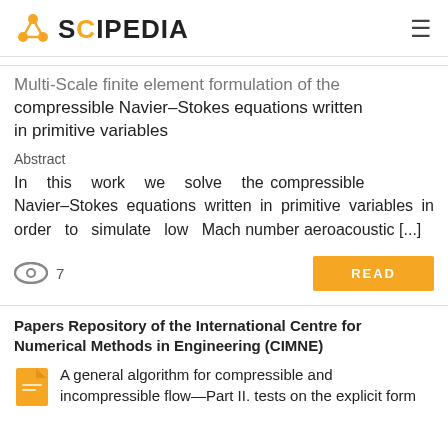SCIPEDIA
Multi-Scale finite element formulation of the compressible Navier–Stokes equations written in primitive variables
Abstract
In this work we solve the compressible Navier–Stokes equations written in primitive variables in order to simulate low Mach number aeroacoustic [...]
7
READ
Papers Repository of the International Centre for Numerical Methods in Engineering (CIMNE)
A general algorithm for compressible and incompressible flow—Part II. tests on the explicit form